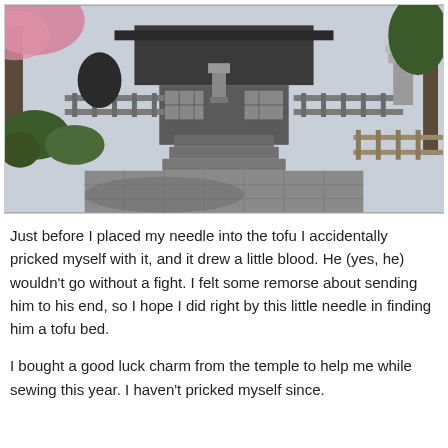[Figure (photo): A Japanese temple or shrine exterior with a stone-paved pathway leading to steps up to the building. Stone lanterns and wooden fence structures are visible on both sides. Cherry blossom trees are blooming on the left. The scene is photographed in daylight with shadows on the pavement.]
Just before I placed my needle into the tofu I accidentally pricked myself with it, and it drew a little blood. He (yes, he) wouldn't go without a fight. I felt some remorse about sending him to his end, so I hope I did right by this little needle in finding him a tofu bed.
I bought a good luck charm from the temple to help me while sewing this year. I haven't pricked myself since.